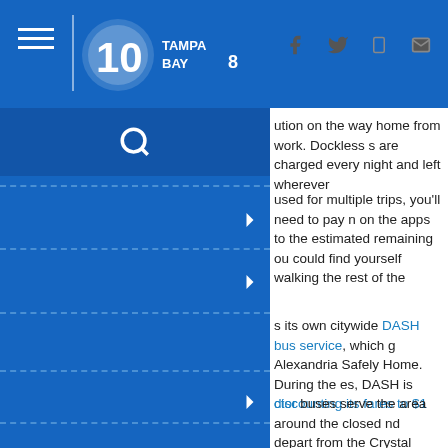10 Tampa Bay - News header with hamburger menu, logo, and social icons (Facebook, Twitter, Mobile, Email)
...ution on the way home from work. Dockless ...s are charged every night and left wherever
...used for multiple trips, you'll need to pay ...n on the apps to the estimated remaining ...ou could find yourself walking the rest of the
...s its own citywide DASH bus service, which ...g Alexandria Safely Home. During the ...es, DASH is discounting its fares to $1
...ctor buses serve the area around the closed ...nd depart from the Crystal City, Franconia- ...tington, Pentagon, Pentagon City and Van ...ro stations.